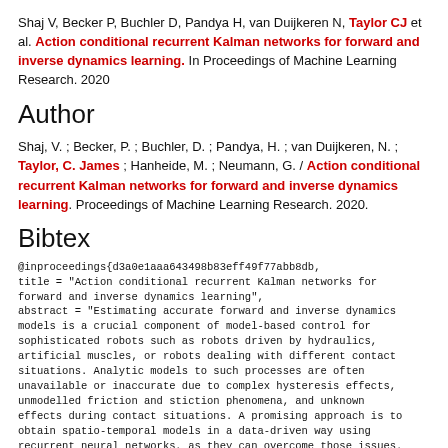Shaj V, Becker P, Buchler D, Pandya H, van Duijkeren N, Taylor CJ et al. Action conditional recurrent Kalman networks for forward and inverse dynamics learning. In Proceedings of Machine Learning Research. 2020
Author
Shaj, V. ; Becker, P. ; Buchler, D. ; Pandya, H. ; van Duijkeren, N. ; Taylor, C. James ; Hanheide, M. ; Neumann, G. / Action conditional recurrent Kalman networks for forward and inverse dynamics learning. Proceedings of Machine Learning Research. 2020.
Bibtex
@inproceedings{d3a0e1aaa643498b83eff49f77abb8db,
title = "Action conditional recurrent Kalman networks for forward and inverse dynamics learning",
abstract = "Estimating accurate forward and inverse dynamics models is a crucial component of model-based control for sophisticated robots such as robots driven by hydraulics, artificial muscles, or robots dealing with different contact situations. Analytic models to such processes are often unavailable or inaccurate due to complex hysteresis effects, unmodelled friction and stiction phenomena, and unknown effects during contact situations. A promising approach is to obtain spatio-temporal models in a data-driven way using recurrent neural networks, as they can overcome those issues. However, such models often do not meet accuracy demands sufficiently, degenerate in performance for the required high sampling frequencies and cannot provide uncertainty estimates.We adopt a recent probabilistic recurrent neural